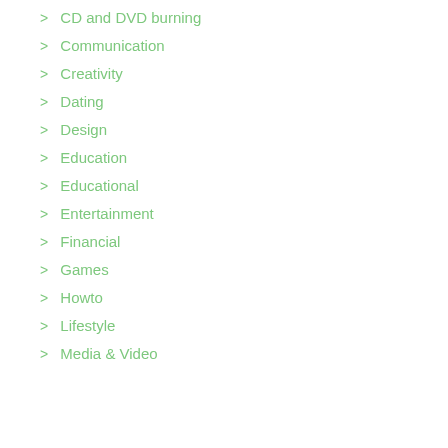> CD and DVD burning
> Communication
> Creativity
> Dating
> Design
> Education
> Educational
> Entertainment
> Financial
> Games
> Howto
> Lifestyle
> Media & Video